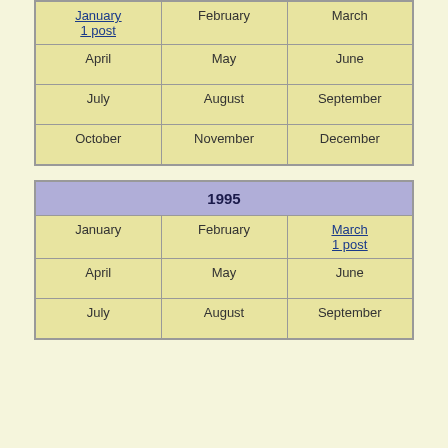| January
1 post | February | March |
| April | May | June |
| July | August | September |
| October | November | December |
| 1995 |
| --- |
| January | February | March
1 post |
| April | May | June |
| July | August | September |